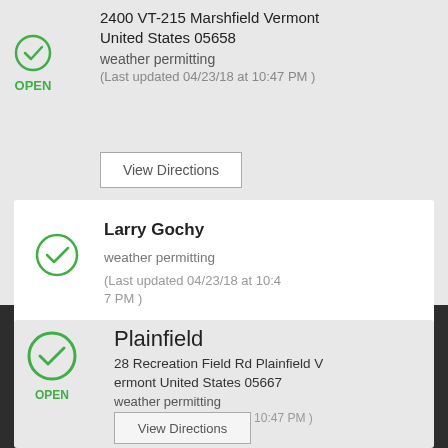2400 VT-215 Marshfield Vermont United States 05658
weather permitting
(Last updated 04/23/18 at 10:47 PM )
View Directions
Larry Gochy
weather permitting
(Last updated 04/23/18 at 10:47 PM )
Plainfield
28 Recreation Field Rd Plainfield Vermont United States 05667
weather permitting
(Last updated 04/23/18 at 10:47 PM )
View Directions